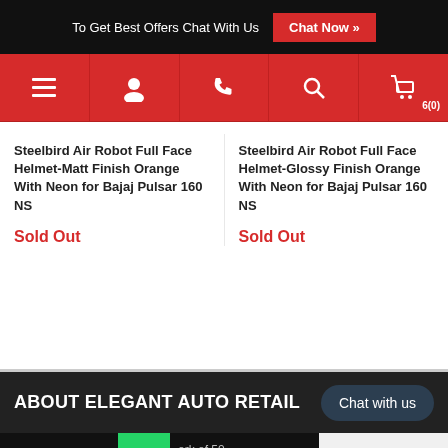To Get Best Offers Chat With Us  Chat Now »
[Figure (screenshot): Navigation bar with red background containing hamburger menu, user icon, phone icon, search icon, and shopping cart icon with badge 6(0)]
Steelbird Air Robot Full Face Helmet-Matt Finish Orange With Neon for Bajaj Pulsar 160 NS
Sold Out
Steelbird Air Robot Full Face Helmet-Glossy Finish Orange With Neon for Bajaj Pulsar 160 NS
Sold Out
ABOUT ELEGANT AUTO RETAIL
Chat with us
Get Discount
ork of 50  r autom
Select Language